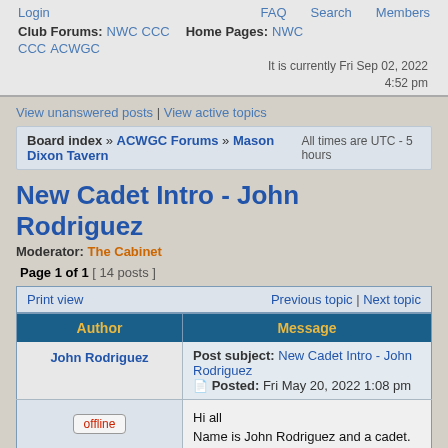Login | FAQ | Search | Members
Club Forums: NWC CCC Home Pages: NWC CCC ACWGC
It is currently Fri Sep 02, 2022 4:52 pm
View unanswered posts | View active topics
Board index » ACWGC Forums » Mason Dixon Tavern   All times are UTC - 5 hours
New Cadet Intro - John Rodriguez
Moderator: The Cabinet
Page 1 of 1  [ 14 posts ]
| Author | Message |
| --- | --- |
| John Rodriguez | Post subject: New Cadet Intro - John Rodriguez
Posted: Fri May 20, 2022 1:08 pm |
| offline
Joined: Wed Apr 13, 2022 9:56 am
Posts: 1 | Hi all
Name is John Rodriguez and a cadet. Just finished an excellent training game and learned a great deal from Michael Barycki.
I live in Virginia, 15 miles from the Bull Run battlefield. Enjoy hiking there |